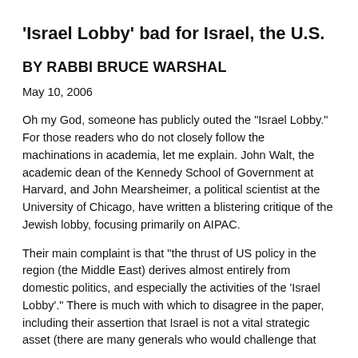'Israel Lobby' bad for Israel, the U.S.
BY RABBI BRUCE WARSHAL
May 10, 2006
Oh my God, someone has publicly outed the "Israel Lobby." For those readers who do not closely follow the machinations in academia, let me explain. John Walt, the academic dean of the Kennedy School of Government at Harvard, and John Mearsheimer, a political scientist at the University of Chicago, have written a blistering critique of the Jewish lobby, focusing primarily on AIPAC.
Their main complaint is that "the thrust of US policy in the region (the Middle East) derives almost entirely from domestic politics, and especially the activities of the 'Israel Lobby'." There is much with which to disagree in the paper, including their assertion that Israel is not a vital strategic asset (there are many generals who would challenge that